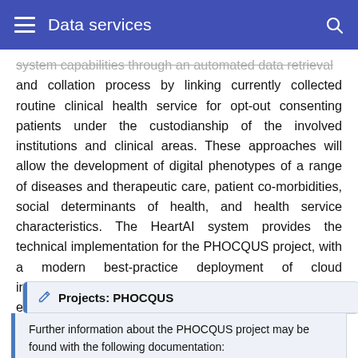Data services
system capabilities through an automated data retrieval and collation process by linking currently collected routine clinical health service for opt-out consenting patients under the custodianship of the involved institutions and clinical areas. These approaches will allow the development of digital phenotypes of a range of diseases and therapeutic care, patient co-morbidities, social determinants of health, and health service characteristics. The HeartAI system provides the technical implementation for the PHOCQUS project, with a modern best-practice deployment of cloud infrastructure, high-performance data systems, and enhanced platform management and operation.
Projects: PHOCQUS
Further information about the PHOCQUS project may be found with the following documentation: